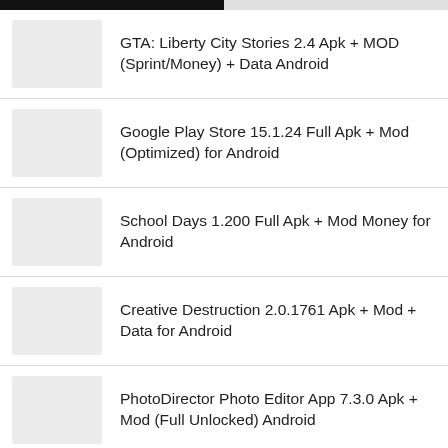GTA: Liberty City Stories 2.4 Apk + MOD (Sprint/Money) + Data Android
Google Play Store 15.1.24 Full Apk + Mod (Optimized) for Android
School Days 1.200 Full Apk + Mod Money for Android
Creative Destruction 2.0.1761 Apk + Mod + Data for Android
PhotoDirector Photo Editor App 7.3.0 Apk + Mod (Full Unlocked) Android
Pokemon GO 0.145.0 Apk + MOD (Fake